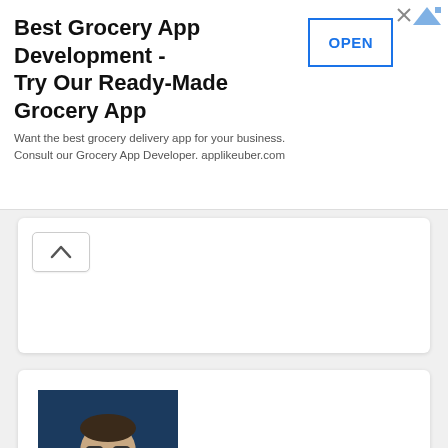[Figure (screenshot): Advertisement banner: Best Grocery App Development - Try Our Ready-Made Grocery App. With OPEN button and ad icon.]
[Figure (screenshot): Collapsed card UI element with chevron/up arrow button at top left]
[Figure (screenshot): Profile photo of a man in blue shirt and tie with dark background]
TITANIUM-TURBO
Axway Amplify module that adds some enhancements for Appcelerator Tita...
3  15  15